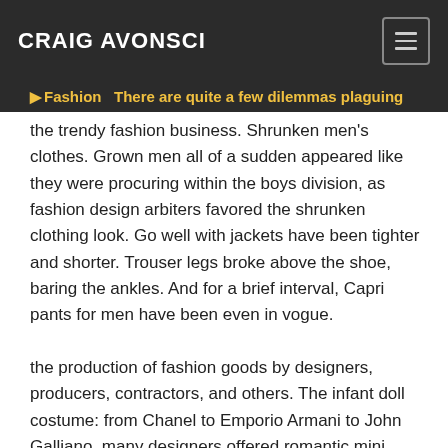CRAIG AVONSCI
Fashion — There are quite a few dilemmas plaguing
the trendy fashion business. Shrunken men's clothes. Grown men all of a sudden appeared like they were procuring within the boys division, as fashion design arbiters favored the shrunken clothing look. Go well with jackets have been tighter and shorter. Trouser legs broke above the shoe, baring the ankles. And for a brief interval, Capri pants for men have been even in vogue.

the production of fashion goods by designers, producers, contractors, and others. The infant doll costume: from Chanel to Emporio Armani to John Galliano, many designers offered romantic mini dressesin lace, satin and tweed, excellent for a 'Lolita'